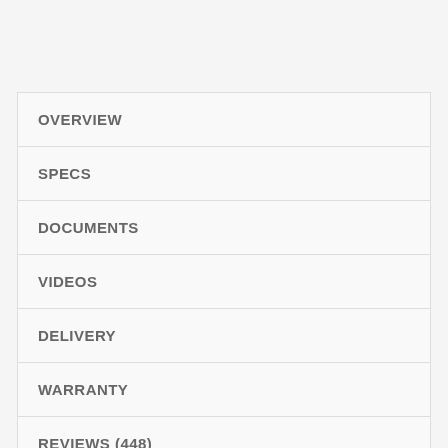OVERVIEW
SPECS
DOCUMENTS
VIDEOS
DELIVERY
WARRANTY
REVIEWS (448)